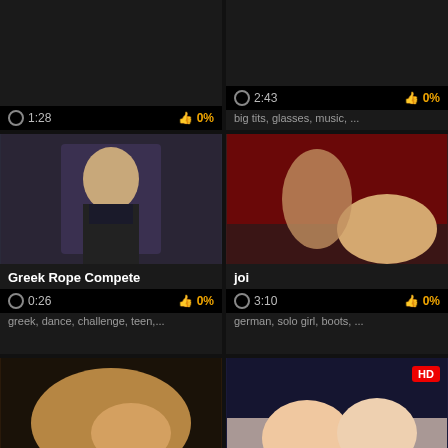[Figure (screenshot): Video thumbnail card - top partial, time 1:28, 0% likes]
[Figure (screenshot): Video thumbnail card - top partial, time 2:43, 0% likes, tags: big tits, glasses, music, ...]
[Figure (screenshot): Video thumbnail - Greek Rope Compete, time 0:26, 0% likes, tags: greek, dance, challenge, teen,...]
[Figure (screenshot): Video thumbnail - joi, time 3:10, 0% likes, tags: german, solo girl, boots, ...]
[Figure (screenshot): Video thumbnail - super-naughty me paying with titties]
[Figure (screenshot): Video thumbnail HD - This Ideal Titties Gal Frigging Her Humid Vulva, SweetCams.com]